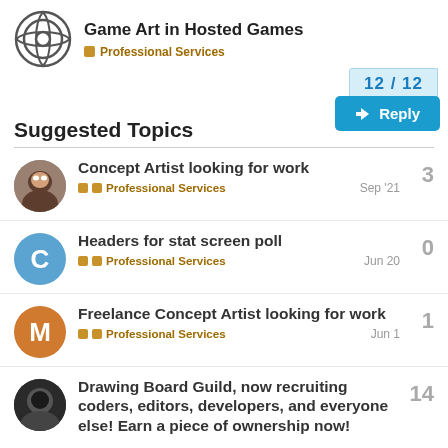Game Art in Hosted Games — Professional Services
Suggested Topics
Concept Artist looking for work — Professional Services — Sep '21 — 3 replies
Headers for stat screen poll — Professional Services — Jun 20 — 0 replies
Freelance Concept Artist looking for work — Professional Services — Jun 1 — 1 reply
Drawing Board Guild, now recruiting coders, editors, developers, and everyone else! Earn a piece of ownership now! — 14 replies